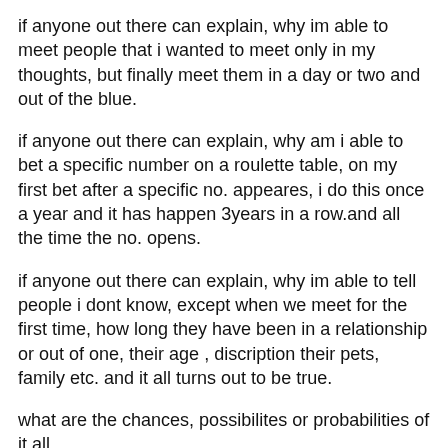if anyone out there can explain, why im able to meet people that i wanted to meet only in my thoughts, but finally meet them in a day or two and out of the blue.
if anyone out there can explain, why am i able to bet a specific number on a roulette table, on my first bet after a specific no. appeares, i do this once a year and it has happen 3years in a row.and all the time the no. opens.
if anyone out there can explain, why im able to tell people i dont know, except when we meet for the first time, how long they have been in a relationship or out of one, their age , discription their pets, family etc. and it all turns out to be true.
what are the chances, possibilites or probabilities of it all.
we truely dont know everything there is to know, and thats why we are all searching for the truth, and